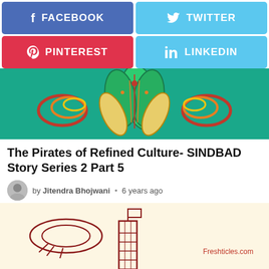[Figure (screenshot): Social share buttons: Facebook (blue), Twitter (light blue), Pinterest (red), LinkedIn (light blue)]
[Figure (illustration): Colorful mandala/paisley decorative banner on teal/green background]
The Pirates of Refined Culture- SINDBAD Story Series 2 Part 5
by Jitendra Bhojwani • 6 years ago
[Figure (illustration): Line art illustration of a lighthouse/tower with a flag, and a bread/food item, on cream background. Freshticles.com watermark visible.]